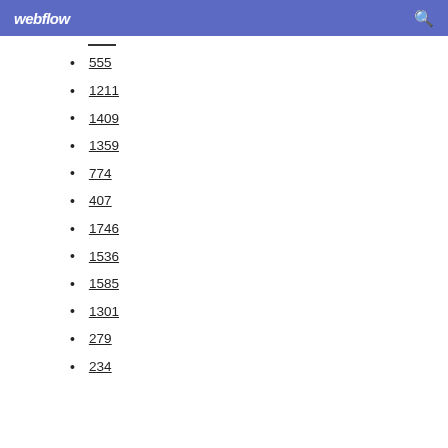webflow
555
1211
1409
1359
774
407
1746
1536
1585
1301
279
234